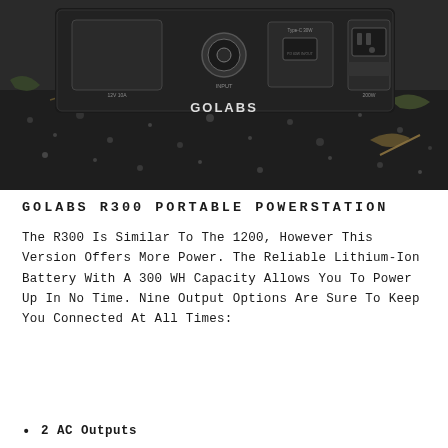[Figure (photo): Photo of the GOLABS R300 portable power station from behind, showing input/output ports including AC outlets, USB-C (Type-C 30W, PD 60W IN/OUT), and DC ports. The device is black with GOLABS branding, placed outdoors on dark gravel/soil with leaves and twigs around it.]
GOLABS R300 PORTABLE POWERSTATION
The R300 is similar to the 1200, however this version offers more power. The reliable lithium-ion battery with a 300 WH capacity allows you to power up in no time. Nine output options are sure to keep you connected at all times:
2 AC Outputs